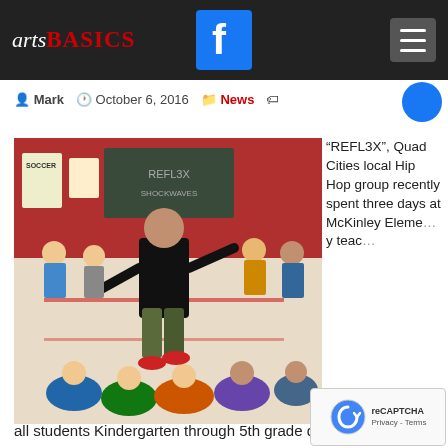arts BASICS — Facebook icon — Hamburger menu
Mark   October 6, 2016   News
[Figure (photo): Hip hop performer dancing in front of children seated on a gym floor, with students standing behind in a school gymnasium with red walls and chalkboard]
“REFL3X”, Quad Cities local Hip Hop group recently spent three days at McKinley Eleme… y teac…
all students Kindergarten through 5th grade danc…